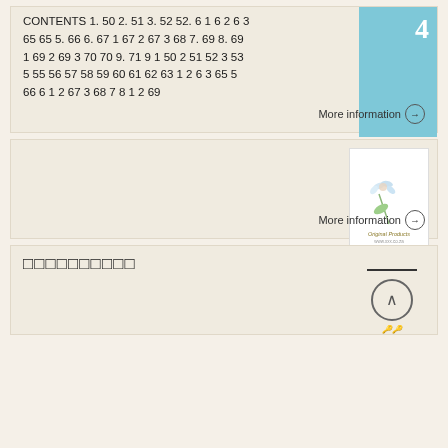CONTENTS 1. 50 2. 51 3. 52 52. 6 1 6 2 6 3 65 65 5. 66 6. 67 1 67 2 67 3 68 7. 69 8. 69 1 69 2 69 3 70 70 9. 71 9 1 50 2 51 52 3 53 5 55 56 57 58 59 60 61 62 63 1 2 6 3 65 5 66 6 1 2 67 3 68 7 8 1 2 69
[Figure (other): Blue box with number 4]
More information →
[Figure (illustration): Product image with flower and label showing 'Original Products' and website URL]
More information →
□□□□□□□□□□
[Figure (photo): Back to top button with horizontal line above it and what appears to be keys at the bottom]